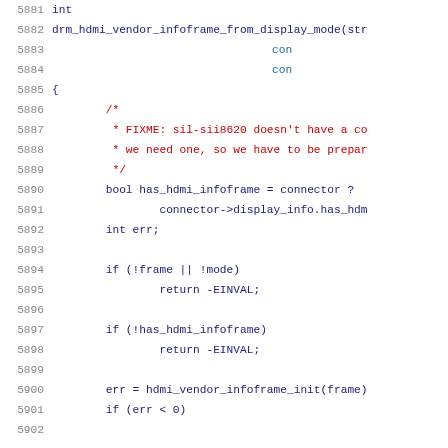Source code listing, lines 5881-5901, showing a C function drm_hdmi_vendor_infoframe_from_display_mode with local variables, comments, conditionals, and function call.